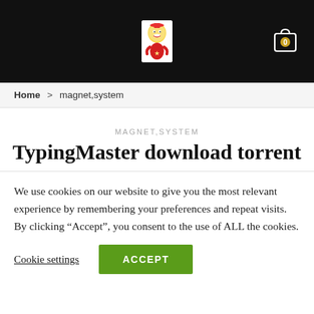[Figure (logo): Website logo with colorful cartoon character on black header bar with shopping cart icon showing 0 items]
Home > magnet,system
MAGNET,SYSTEM
TypingMaster download torrent
We use cookies on our website to give you the most relevant experience by remembering your preferences and repeat visits. By clicking “Accept”, you consent to the use of ALL the cookies.
Cookie settings   ACCEPT